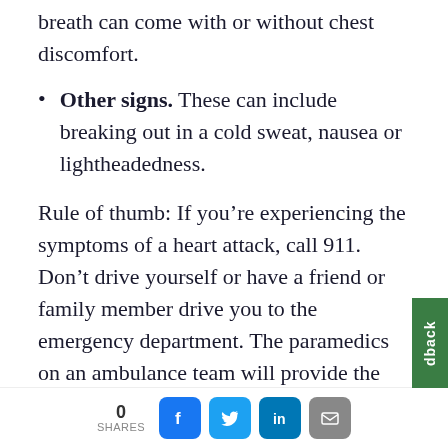breath can come with or without chest discomfort.
Other signs. These can include breaking out in a cold sweat, nausea or lightheadedness.
Rule of thumb: If you’re experiencing the symptoms of a heart attack, call 911. Don’t drive yourself or have a friend or family member drive you to the emergency department. The paramedics on an ambulance team will provide the best care. During a heart attack, every minute counts. If your heart stops on the way
0 SHARES